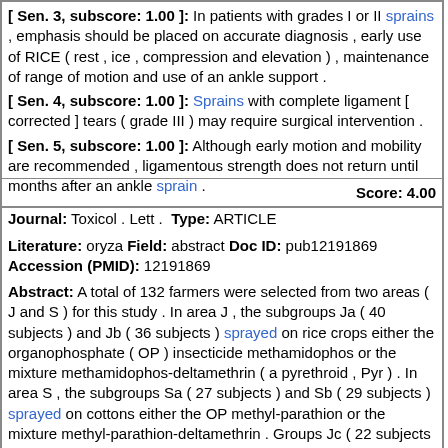[ Sen. 3, subscore: 1.00 ]: In patients with grades I or II sprains , emphasis should be placed on accurate diagnosis , early use of RICE ( rest , ice , compression and elevation ) , maintenance of range of motion and use of an ankle support .
[ Sen. 4, subscore: 1.00 ]: Sprains with complete ligament [ corrected ] tears ( grade III ) may require surgical intervention .
[ Sen. 5, subscore: 1.00 ]: Although early motion and mobility are recommended , ligamentous strength does not return until months after an ankle sprain .
Score: 4.00
Journal: Toxicol . Lett . Type: ARTICLE
Literature: oryza Field: abstract Doc ID: pub12191869 Accession (PMID): 12191869
Abstract: A total of 132 farmers were selected from two areas ( J and S ) for this study . In area J , the subgroups Ja ( 40 subjects ) and Jb ( 36 subjects ) sprayed on rice crops either the organophosphate ( OP ) insecticide methamidophos or the mixture methamidophos-deltamethrin ( a pyrethroid , Pyr ) . In area S , the subgroups Sa ( 27 subjects ) and Sb ( 29 subjects ) sprayed on cottons either the OP methyl-parathion or the mixture methyl-parathion-deltamethrin . Groups Jc ( 22 subjects ) and Sc ( 20 subjects ) were non-exposed controls . Erythrocyte acetylcholinesterase ( AChE ) was measured by the Ellmans method before spraying , after 2-h exposure and 1 h later . Inhibition of AChE occurred after 2-h exposure to both single OP ( Ja and Sa ) and OP-containing mixtures ( Jb and Sb ) as compared with both pre-exposure and control values ( Jc and Sc ) . A similar recovery was found in subgroups Ja , Jb , Sa and Sb 1 h after spraying , but all remained lower than the pre-exposure level . There was no difference in AChE inhibition